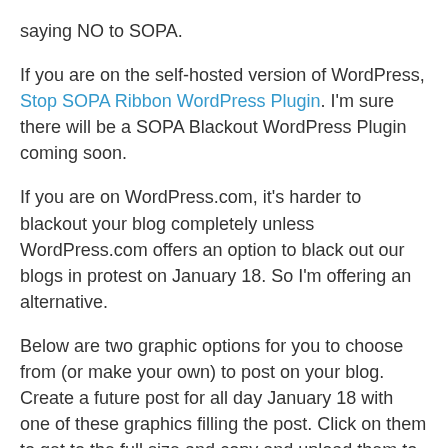saying NO to SOPA.
If you are on the self-hosted version of WordPress, Stop SOPA Ribbon WordPress Plugin. I'm sure there will be a SOPA Blackout WordPress Plugin coming soon.
If you are on WordPress.com, it's harder to blackout your blog completely unless WordPress.com offers an option to black out our blogs in protest on January 18. So I'm offering an alternative.
Below are two graphic options for you to choose from (or make your own) to post on your blog. Create a future post for all day January 18 with one of these graphics filling the post. Click on them to get to the full size and copy and upload them to your site. You are welcome to use them freely.